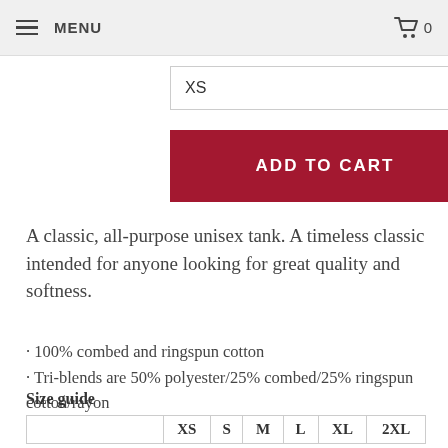MENU  0
XS
ADD TO CART
A classic, all-purpose unisex tank. A timeless classic intended for anyone looking for great quality and softness.
· 100% combed and ringspun cotton
· Tri-blends are 50% polyester/25% combed/25% ringspun cotton/rayon
· Side-seamed, unisex sizing
· Sizes - XS-2XL
Size guide
|  | XS | S | M | L | XL | 2XL |
| --- | --- | --- | --- | --- | --- | --- |